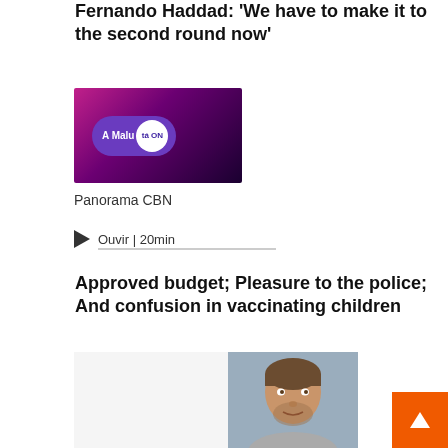Fernando Haddad: 'We have to make it to the second round now'
[Figure (photo): A Malu tá ON podcast thumbnail with purple/pink background and woman's face]
Panorama CBN
Ouvir | 20min
Approved budget; Pleasure to the police; And confusion in vaccinating children
[Figure (photo): Panorama CBN logo with red geometric background]
[Figure (photo): Man's face photo, partial view]